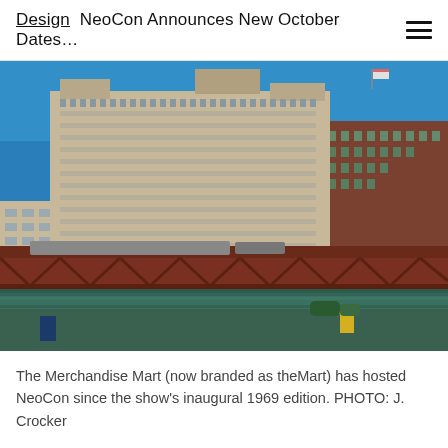Design  NeoCon Announces New October Dates…
[Figure (photo): Exterior photograph of the Merchandise Mart (theMart) in Chicago, a large art-deco building along the Chicago River, with a rusty red elevated rail bridge in the foreground crossing the river. Blue sky background, brick building visible on the right.]
The Merchandise Mart (now branded as theMart) has hosted NeoCon since the show's inaugural 1969 edition. PHOTO: J. Crocker